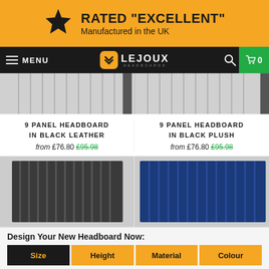[Figure (infographic): Yellow banner with black star icon, text RATED EXCELLENT and Manufactured in the UK]
MENU | LEJOUX HEADBOARDS | 0
[Figure (photo): Two product images at top cropped - white paneled headboard sections]
9 PANEL HEADBOARD IN BLACK LEATHER
from £76.80 £95.98
9 PANEL HEADBOARD IN BLACK PLUSH
from £76.80 £95.98
[Figure (photo): 9 Panel Headboard in Black Leather - dark charcoal vertical panels headboard]
[Figure (photo): 9 Panel Headboard in Blue - navy blue vertical panels headboard]
Design Your New Headboard Now:
| Size | Height | Material | Colour |
| --- | --- | --- | --- |